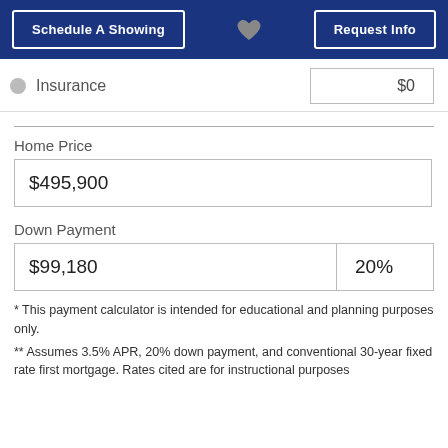[Figure (screenshot): Top navigation bar with 'Schedule A Showing' button on the left, a gray heart icon in the center, and 'Request Info' button on the right, all on a dark blue background.]
Insurance  $0
Home Price
$495,900
Down Payment
$99,180  20%
* This payment calculator is intended for educational and planning purposes only.
** Assumes 3.5% APR, 20% down payment, and conventional 30-year fixed rate first mortgage. Rates cited are for instructional purposes